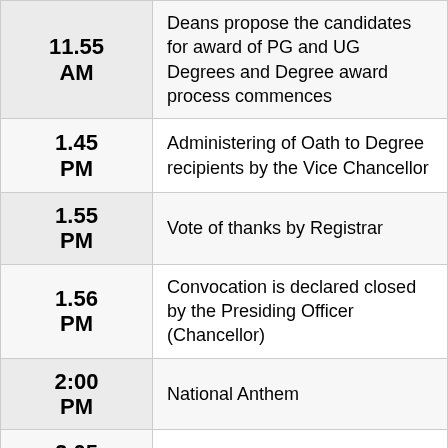| Time | Event |
| --- | --- |
| 11.55 AM | Deans propose the candidates for award of PG and UG Degrees and Degree award process commences |
| 1.45 PM | Administering of Oath to Degree recipients by the Vice Chancellor |
| 1.55 PM | Vote of thanks by Registrar |
| 1.56 PM | Convocation is declared closed by the Presiding Officer (Chancellor) |
| 2:00 PM | National Anthem |
| 2.05 PM | Academic Procession Departs |